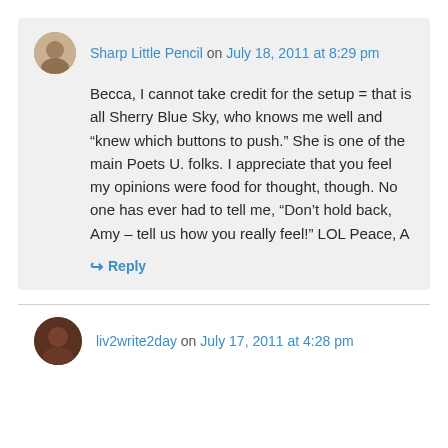Sharp Little Pencil on July 18, 2011 at 8:29 pm
Becca, I cannot take credit for the setup = that is all Sherry Blue Sky, who knows me well and “knew which buttons to push.” She is one of the main Poets U. folks. I appreciate that you feel my opinions were food for thought, though. No one has ever had to tell me, “Don’t hold back, Amy – tell us how you really feel!” LOL Peace, A
↪ Reply
liv2write2day on July 17, 2011 at 4:28 pm